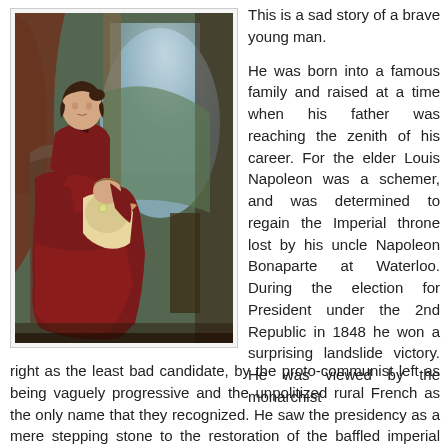[Figure (illustration): Oil painting of a woman in a dark red dress seated with a young child on her lap, with an arched background suggesting an outdoor or palace setting.]
This is a sad story of a brave young man.

He was born into a famous family and raised at a time when his father was reaching the zenith of his career. For the elder Louis Napoleon was a schemer, and was determined to regain the Imperial throne lost by his uncle Napoleon Bonaparte at Waterloo. During the election for President under the 2nd Republic in 1848 he won a surprising landslide victory. He was viewed by the monarchist right as the least bad candidate, by the proto-communist left as being vaguely progressive and the unpolitized rural French as the only name that they recognized. He saw the presidency as a mere stepping stone to the restoration of the baffled imperial throne.